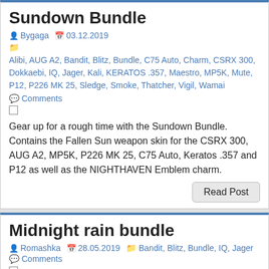Sundown Bundle
Bygaga  03.12.2019
Alibi, AUG A2, Bandit, Blitz, Bundle, C75 Auto, Charm, CSRX 300, Dokkaebi, IQ, Jager, Kali, KERATOS .357, Maestro, MP5K, Mute, P12, P226 MK 25, Sledge, Smoke, Thatcher, Vigil, Wamai
Comments
Gear up for a rough time with the Sundown Bundle. Contains the Fallen Sun weapon skin for the CSRX 300, AUG A2, MP5K, P226 MK 25, C75 Auto, Keratos .357 and P12 as well as the NIGHTHAVEN Emblem charm.
Read Post
Midnight rain bundle
Romashka  28.05.2019  Bandit, Blitz, Bundle, IQ, Jager
Comments
Rainbow Six Siege – Midnight rain bundle Embody the fear of the unknown with the Midnight Rain Bundle. Includes the Shadow Brine uniforms and headgears for Bandit, Blitz, IQ and Jäger.